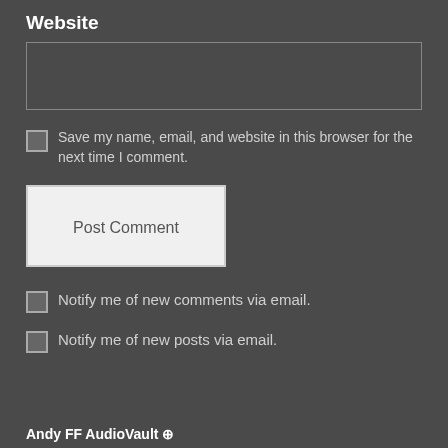Website
[Figure (screenshot): Empty text input box for website field]
Save my name, email, and website in this browser for the next time I comment.
Post Comment
Notify me of new comments via email.
Notify me of new posts via email.
Andy FF AudioVault